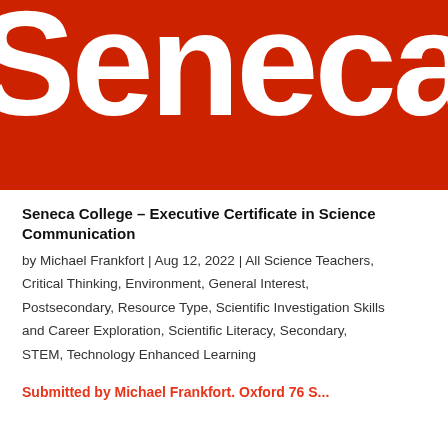[Figure (logo): Seneca College logo — white bold serif text 'Seneca' on a red background]
Seneca College – Executive Certificate in Science Communication
by Michael Frankfort | Aug 12, 2022 | All Science Teachers, Critical Thinking, Environment, General Interest, Postsecondary, Resource Type, Scientific Investigation Skills and Career Exploration, Scientific Literacy, Secondary, STEM, Technology Enhanced Learning
Submitted by Michael Frankfort. Oxford 76 S...